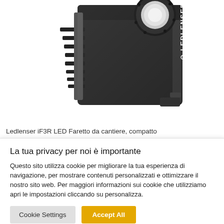[Figure (photo): Close-up photo of a black Ledlenser iF3R LED work site floodlight, showing the housing with heat sink fins on the left, circular lens mount at top, and LEDLENSER branding text on the body.]
Ledlenser iF3R LED Faretto da cantiere, compatto
La tua privacy per noi è importante
Questo sito utilizza cookie per migliorare la tua esperienza di navigazione, per mostrare contenuti personalizzati e ottimizzare il nostro sito web. Per maggiori informazioni sui cookie che utilizziamo apri le impostazioni cliccando su personalizza.
Cookie Settings
Accept All